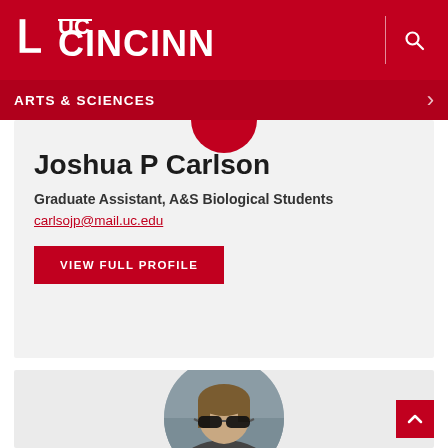UC CINCINNATI
ARTS & SCIENCES
Joshua P Carlson
Graduate Assistant, A&S Biological Students
carlsojp@mail.uc.edu
VIEW FULL PROFILE
[Figure (photo): Circular cropped photo of Joshua P Carlson wearing sunglasses, shown from shoulders up against a stone/concrete background]